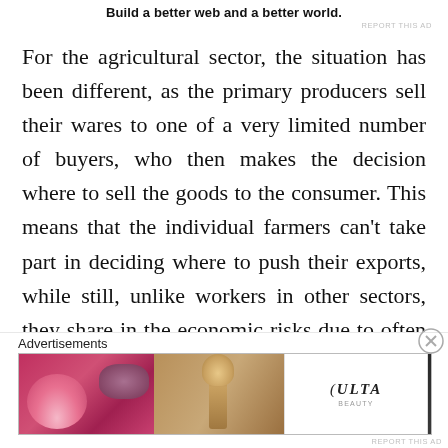Build a better web and a better world.
For the agricultural sector, the situation has been different, as the primary producers sell their wares to one of a very limited number of buyers, who then makes the decision where to sell the goods to the consumer. This means that the individual farmers can't take part in deciding where to push their exports, while still, unlike workers in other sectors, they share in the economic risks due to often being small-scale entrepreneurs. This is in
[Figure (other): Ulta Beauty advertisement banner with cosmetics imagery and SHOP NOW call to action]